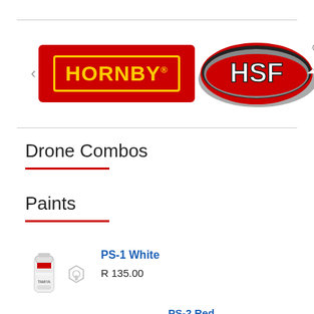[Figure (logo): Hornby brand logo - red rectangle with yellow text HORNBY and registered trademark symbol]
[Figure (logo): HSF brand logo - oval shaped logo with HSF text in white on red/grey background with registered trademark symbol]
Drone Combos
Paints
[Figure (photo): Small spray paint can (Tamiya) with a hexagon/octagon shape icon beside it]
PS-1 White
R 135.00
PS-2 Red